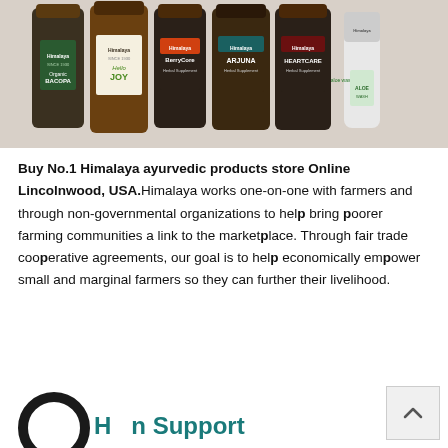[Figure (photo): Row of Himalaya brand herbal supplement bottles and a tube: Organic Bacopa, Hello Joy, BerryCore, Arjuna, HeartCare, and an Aloe Wash tube, arranged side by side on a white background.]
Buy No.1 Himalaya ayurvedic products store Online Lincolnwood, USA. Himalaya works one-on-one with farmers and through non-governmental organizations to help bring poorer farming communities a link to the marketplace. Through fair trade cooperative agreements, our goal is to help economically empower small and marginal farmers so they can further their livelihood.
Human Support